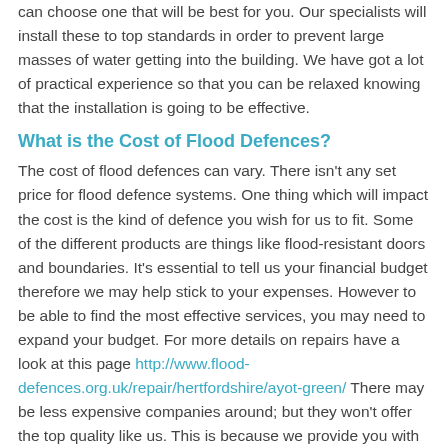can choose one that will be best for you. Our specialists will install these to top standards in order to prevent large masses of water getting into the building. We have got a lot of practical experience so that you can be relaxed knowing that the installation is going to be effective.
What is the Cost of Flood Defences?
The cost of flood defences can vary. There isn't any set price for flood defence systems. One thing which will impact the cost is the kind of defence you wish for us to fit. Some of the different products are things like flood-resistant doors and boundaries. It's essential to tell us your financial budget therefore we may help stick to your expenses. However to be able to find the most effective services, you may need to expand your budget. For more details on repairs have a look at this page http://www.flood-defences.org.uk/repair/hertfordshire/ayot-green/ There may be less expensive companies around; but they won't offer the top quality like us. This is because we provide you with superior quality services and products to prevent water getting into your house or commercial space along with effective aftercare services.
Flood Defence Spending in England